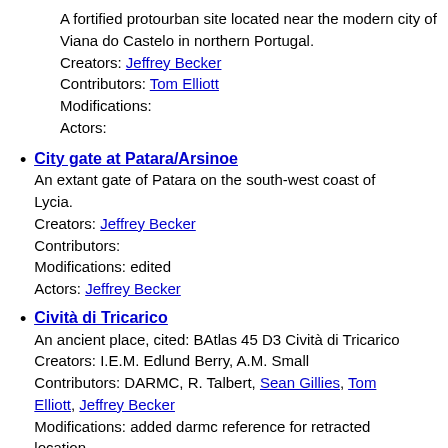A fortified protourban site located near the modern city of Viana do Castelo in northern Portugal.
Creators: Jeffrey Becker
Contributors: Tom Elliott
Modifications:
Actors:
City gate at Patara/Arsinoe
An extant gate of Patara on the south-west coast of Lycia.
Creators: Jeffrey Becker
Contributors:
Modifications: edited
Actors: Jeffrey Becker
Cività di Tricarico
An ancient place, cited: BAtlas 45 D3 Cività di Tricarico
Creators: I.E.M. Edlund Berry, A.M. Small
Contributors: DARMC, R. Talbert, Sean Gillies, Tom Elliott, Jeffrey Becker
Modifications: added darmc reference for retracted location
Actors: Tom Elliott
Col. Forum Iulii